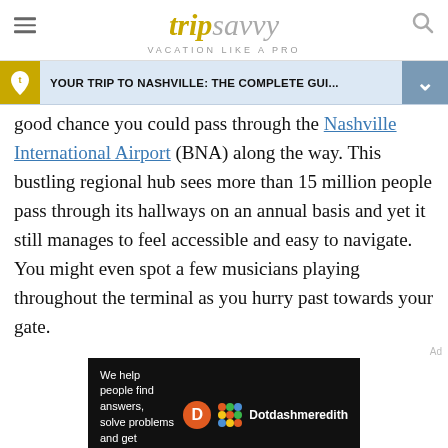trip savvy — VACATION LIKE A PRO
YOUR TRIP TO NASHVILLE: THE COMPLETE GUI...
good chance you could pass through the Nashville International Airport (BNA) along the way. This bustling regional hub sees more than 15 million people pass through its hallways on an annual basis and yet it still manages to feel accessible and easy to navigate. You might even spot a few musicians playing throughout the terminal as you hurry past towards your gate.
[Figure (other): Dotdash Meredith advertisement banner: 'We help people find answers, solve problems and get inspired.']